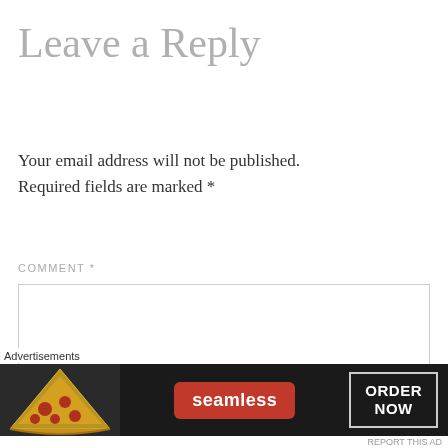Leave a Reply
Your email address will not be published. Required fields are marked *
COMMENT *
[Figure (screenshot): Empty comment text area input box with a thin border]
[Figure (infographic): Seamless food ordering advertisement banner with pizza image, Seamless logo pill, and ORDER NOW button on dark background]